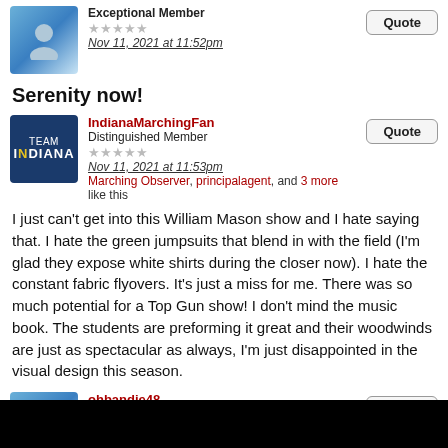Exceptional Member
Nov 11, 2021 at 11:52pm
Serenity now!
IndianaMarchingFan
Distinguished Member
Nov 11, 2021 at 11:53pm
Marching Observer, principalagent, and 3 more like this
I just can't get into this William Mason show and I hate saying that. I hate the green jumpsuits that blend in with the field (I'm glad they expose white shirts during the closer now). I hate the constant fabric flyovers. It's just a miss for me. There was so much potential for a Top Gun show! I don't mind the music book. The students are preforming it great and their woodwinds are just as spectacular as always, I'm just disappointed in the visual design this season.
ohbandie48
Distinguished Member
Nov 11, 2021 at 11:54pm
coleeich likes this